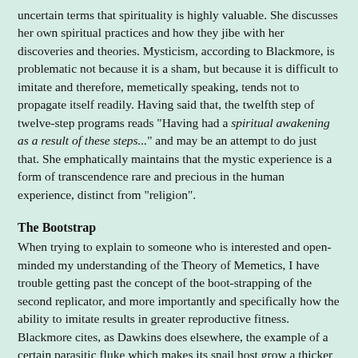uncertain terms that spirituality is highly valuable. She discusses her own spiritual practices and how they jibe with her discoveries and theories. Mysticism, according to Blackmore, is problematic not because it is a sham, but because it is difficult to imitate and therefore, memetically speaking, tends not to propagate itself readily. Having said that, the twelfth step of twelve-step programs reads "Having had a spiritual awakening as a result of these steps..." and may be an attempt to do just that. She emphatically maintains that the mystic experience is a form of transcendence rare and precious in the human experience, distinct from "religion".
The Bootstrap
When trying to explain to someone who is interested and open-minded my understanding of the Theory of Memetics, I have trouble getting past the concept of the boot-strapping of the second replicator, and more importantly and specifically how the ability to imitate results in greater reproductive fitness. Blackmore cites, as Dawkins does elsewhere, the example of a certain parasitic fluke which makes its snail host grow a thicker shell, which helps the fluke but not the snail. My perception is that the explanation is very simple, but that it just eludes me, as so many simple things do by the fact that they're so obvious that I traipse past without